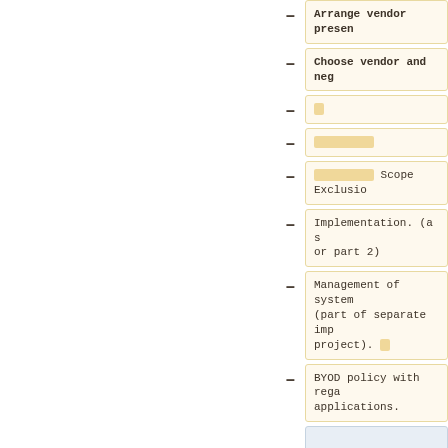Arrange vendor presentations
Choose vendor and negotiate contract
[redacted]
[redacted]
[redacted] Scope Exclusions
Implementation. (a separate project or part 2)
Management of system (part of separate implementation project). [redacted]
BYOD policy with regard to applications.
[redacted - blue box]
[redacted]
Measurements